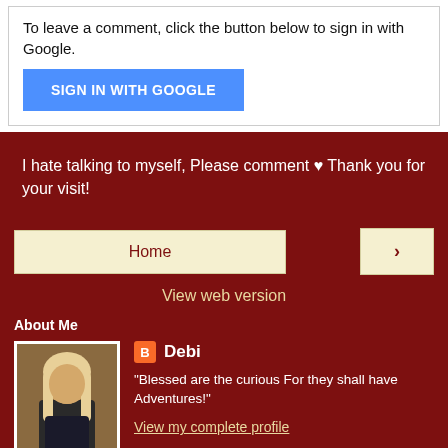To leave a comment, click the button below to sign in with Google.
[Figure (screenshot): Blue 'SIGN IN WITH GOOGLE' button]
I hate talking to myself, Please comment ♥ Thank you for your visit!
Home
›
View web version
About Me
[Figure (photo): Profile photo of a blonde woman]
Debi
"Blessed are the curious For they shall have Adventures!"
View my complete profile
Powered by Blogger.